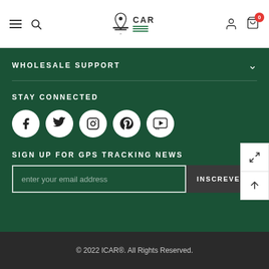[Figure (logo): ICAR brand logo with GPS pin icon and stacked lines, black text 'CAR' with registered trademark symbol]
WHOLESALE SUPPORT
STAY CONNECTED
[Figure (infographic): Five social media icons in white circles on dark green background: Facebook, Twitter, Instagram, Pinterest, YouTube]
SIGN UP FOR GPS TRACKING NEWS
enter your email address
INSCREVER
© 2022 ICAR®. All Rights Reserved.